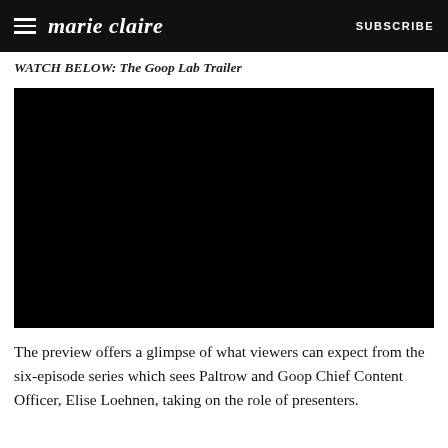marie claire  SUBSCRIBE
WATCH BELOW: The Goop Lab Trailer
[Figure (screenshot): Black video player placeholder for The Goop Lab Trailer]
The preview offers a glimpse of what viewers can expect from the six-episode series which sees Paltrow and Goop Chief Content Officer, Elise Loehnen, taking on the role of presenters.